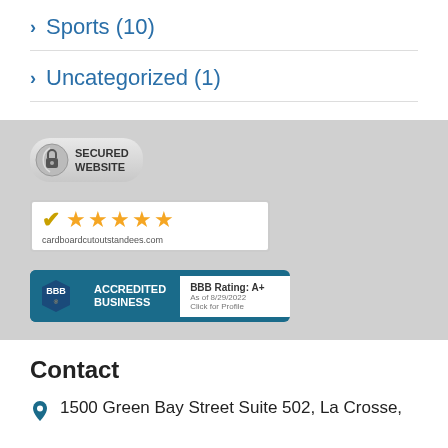> Sports (10)
> Uncategorized (1)
[Figure (logo): Secured Website badge with lock icon]
[Figure (logo): Shopper Approved 5-star rating badge for cardboardcutoutstandees.com]
[Figure (logo): BBB Accredited Business badge with A+ rating as of 8/29/2022]
Contact
1500 Green Bay Street Suite 502, La Crosse,